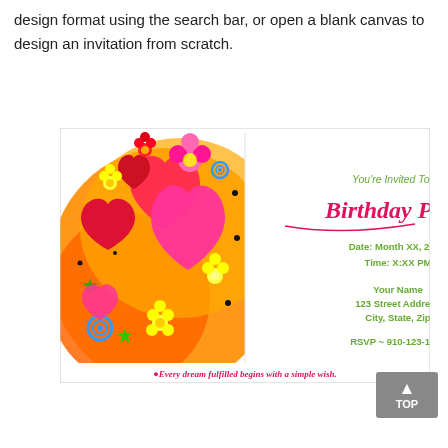design format using the search bar, or open a blank canvas to design an invitation from scratch.
[Figure (illustration): A colorful birthday party invitation card. Left side features vibrant illustrated hearts, flowers, and swirls in red, pink, orange, yellow, blue, and green. Right side on white background shows text: 'You're Invited To A... Birthday Party' (Birthday Party in pink script), 'Date: Month XX, 20XX', 'Time: X:XX PM', 'Your Name', '123 Street Address', 'City, State, Zip', 'RSVP ~ 910-123-1234', and at bottom: 'Every dream fulfilled begins with a simple wish.' in pink cursive.]
TOP